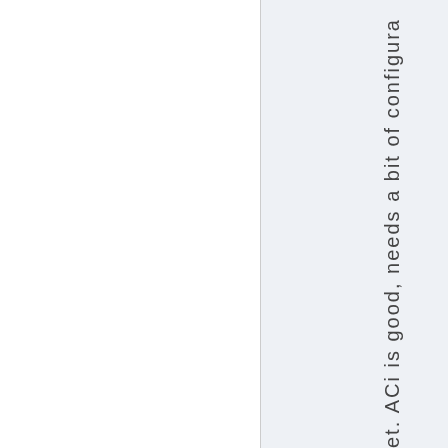et. ACi is good, needs a bit of configura